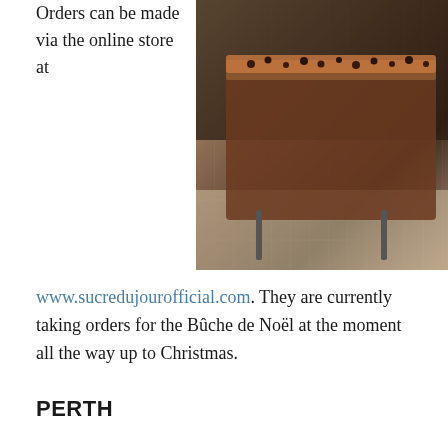Orders can be made via the online store at
[Figure (photo): Close-up photo of a Bûche de Noël (Christmas log cake) decorated with chocolate pieces, placed on a wooden surface with a dark background]
www.sucredujourofficial.com. They are currently taking orders for the Bûche de Noël at the moment all the way up to Christmas.
PERTH
Chez Jean-Claude Patisserie